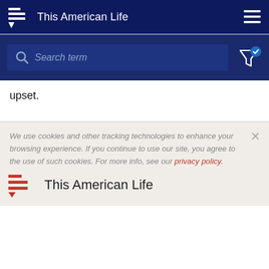This American Life
[Figure (screenshot): Search bar with magnifying glass icon and placeholder text 'Search term', and a filter icon with checkmark to the right]
upset.
We use cookies and other tracking technologies to enhance your browsing experience. If you continue to use our site, you agree to the use of such cookies. For more info, see our privacy policy.
This American Life